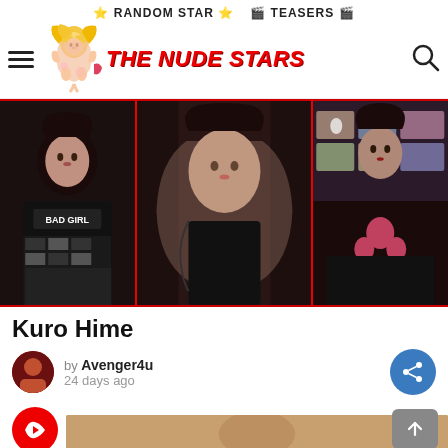⭐ RANDOM STAR ⭐  🎬 TEASERS 🎬
[Figure (logo): The Nude Stars website logo with illustrated blonde character and red bold italic text 'THE NUDE STARS']
[Figure (photo): Three-panel collage of dark-haired woman in various cosplay/gothic outfits with red dividing lines]
Kuro Hime
by Avenger4u
24 days ago